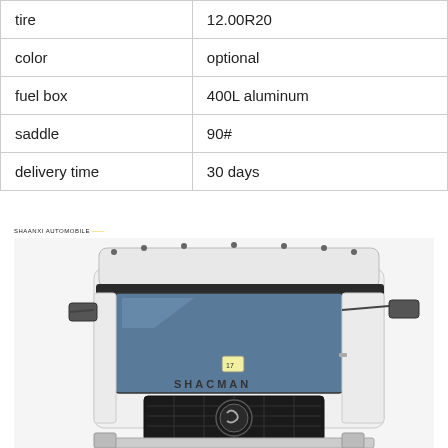| tire | 12.00R20 |
| color | optional |
| fuel box | 400L aluminum |
| saddle | 90# |
| delivery time | 30 days |
[Figure (photo): Front cab view of a white Shacman heavy-duty truck tractor with dark windshield and grille]